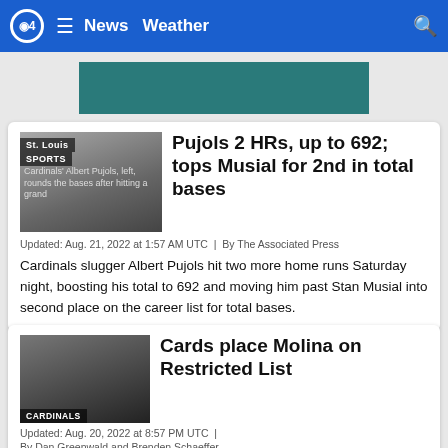CBS4 ☰ News Weather 🔍
[Figure (photo): Partial teal/dark banner ad at top of page]
[Figure (photo): St. Louis Cardinals' Albert Pujols, left, rounds the bases after hitting a grand slam; SPORTS badge overlay]
Pujols 2 HRs, up to 692; tops Musial for 2nd in total bases
Updated: Aug. 21, 2022 at 1:57 AM UTC  |  By The Associated Press
Cardinals slugger Albert Pujols hit two more home runs Saturday night, boosting his total to 692 and moving him past Stan Musial into second place on the career list for total bases.
[Figure (photo): Baseball game action photo with CARDINALS badge overlay]
Cards place Molina on Restricted List
Updated: Aug. 20, 2022 at 8:57 PM UTC  |
By Dan Greenwald and Brenden Schaeffer
The Cardinals placed catcher Yadier Molina on the